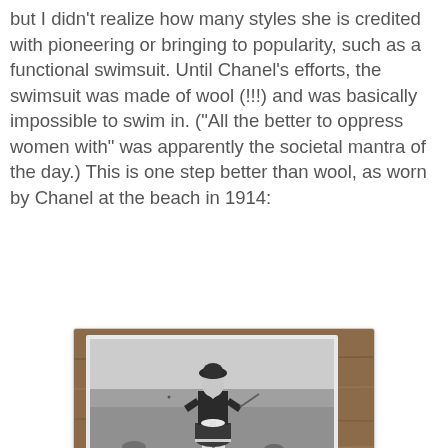but I didn't realize how many styles she is credited with pioneering or bringing to popularity, such as a functional swimsuit. Until Chanel's efforts, the swimsuit was made of wool (!!!) and was basically impossible to swim in. ("All the better to oppress women with" was apparently the societal mantra of the day.) This is one step better than wool, as worn by Chanel at the beach in 1914:
[Figure (photo): Black and white photograph of a woman (Chanel) standing on a beach in 1914 wearing an early swimsuit with a white bow at the waist, striped trim at the hem, white stockings, and a dark hat. The photo appears to be a print photographed on a wooden surface.]